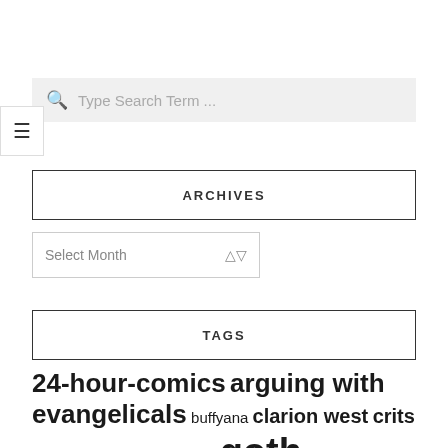[Figure (screenshot): Search bar with magnifying glass icon and placeholder text 'Type Search Term ...' on a light grey background]
[Figure (screenshot): Hamburger menu icon (three horizontal lines) in a white box with border]
ARCHIVES
[Figure (screenshot): Dropdown select box with 'Select Month' placeholder and up/down arrows]
TAGS
24-hour-comics arguing with evangelicals buffyana clarion west crits feminism friday the thirteenth goth house characters halloween